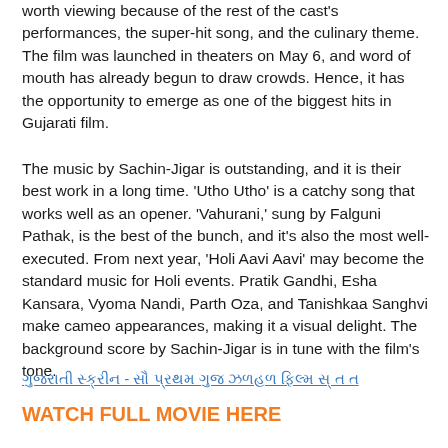worth viewing because of the rest of the cast's performances, the super-hit song, and the culinary theme. The film was launched in theaters on May 6, and word of mouth has already begun to draw crowds. Hence, it has the opportunity to emerge as one of the biggest hits in Gujarati film.
The music by Sachin-Jigar is outstanding, and it is their best work in a long time. 'Utho Utho' is a catchy song that works well as an opener. 'Vahurani,' sung by Falguni Pathak, is the best of the bunch, and it's also the most well-executed. From next year, 'Holi Aavi Aavi' may become the standard music for Holi events. Pratik Gandhi, Esha Kansara, Vyoma Nandi, Parth Oza, and Tanishkaa Sanghvi make cameo appearances, making it a visual delight. The background score by Sachin-Jigar is in tune with the film's tone.
ગુજરાતી સ્ક્રીન - સૌ પ્રથમ ગુજ ઝળહળ ફિલ્મ સ્ તત
WATCH FULL MOVIE HERE